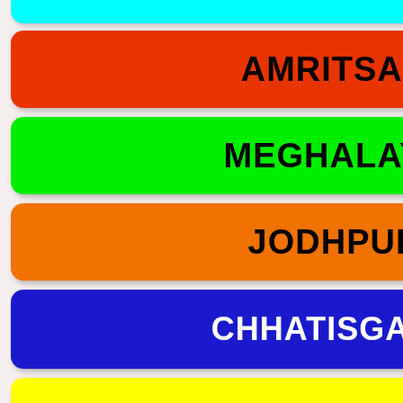[Figure (infographic): Colored rounded rectangle label boxes for Indian states/cities: cyan (partial, top), red (AMRITSAR), green (MEGHALAYA), orange (JODHPUR), blue (CHHATISGARH), yellow (HIMACHAL PRADESH), magenta (RAJASTHAN)]
AMRITSAR
MEGHALAYA
JODHPUR
CHHATISGARH
HIMACHAL PRADESH
RAJASTHAN